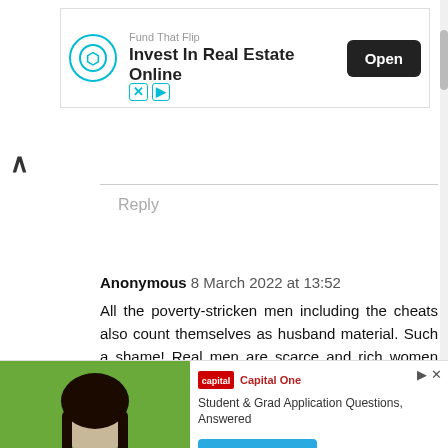[Figure (screenshot): Advertisement banner: Fund That Flip - Invest In Real Estate Online, with Open button]
Reply
Anonymous 8 March 2022 at 13:52
All the poverty-stricken men including the cheats also count themselves as husband material. Such a shame! Real men are scarce and rich women that can care for themselves without a man won't settle for less. One of my aunties didn't marry, adopted a baby girl and in her 60s she still looks so young and beautiful. Her married twin sister on the other hand looked so old like she was 10 years
[Figure (screenshot): Advertisement: Capital One - Student & Grad Application Questions, Answered. Learn More button. Photo of smiling young woman in yellow top.]